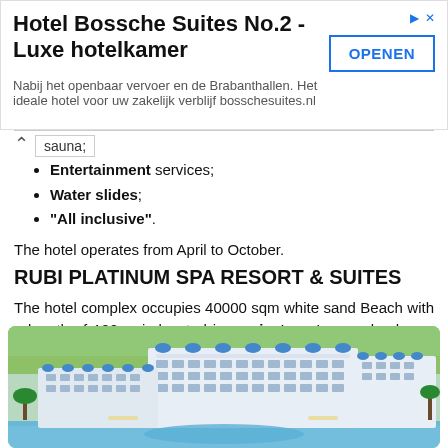[Figure (infographic): Advertisement banner for Hotel Bossche Suites No.2 - Luxe hotelkamer with OPENEN button]
sauna;
Entertainment services;
Water slides;
"All inclusive".
The hotel operates from April to October.
RUBI PLATINUM SPA RESORT & SUITES
The hotel complex occupies 40000 sqm white sand Beach with a length of 120 m is located in a private estuary, also has a pier.
Rooms with balconies are equipped with TV, fridge, air conditioning and access to Wi-Fi.
[Figure (photo): Aerial/elevated view of Rubi Platinum Spa Resort & Suites hotel building complex with white and blue architecture, pool, and greenery]